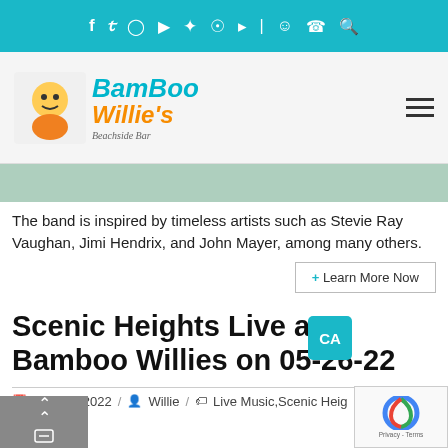Navigation bar with social media and utility icons
[Figure (logo): Bamboo Willie's Beachside Bar logo with mascot character]
[Figure (photo): Green banner/image placeholder area]
The band is inspired by timeless artists such as Stevie Ray Vaughan, Jimi Hendrix, and John Mayer, among many others.
Scenic Heights Live at Bamboo Willies on 05-26-22
May 10, 2022 / Willie / Live Music, Scenic Heig…